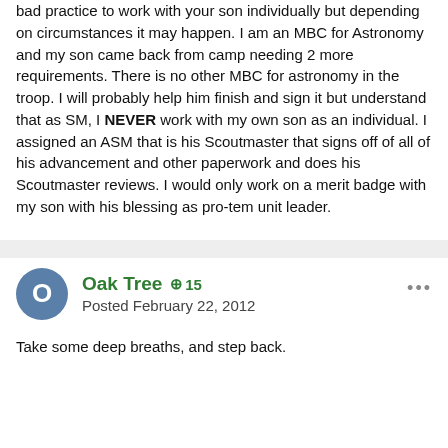bad practice to work with your son individually but depending on circumstances it may happen. I am an MBC for Astronomy and my son came back from camp needing 2 more requirements. There is no other MBC for astronomy in the troop. I will probably help him finish and sign it but understand that as SM, I NEVER work with my own son as an individual. I assigned an ASM that is his Scoutmaster that signs off of all of his advancement and other paperwork and does his Scoutmaster reviews. I would only work on a merit badge with my son with his blessing as pro-tem unit leader.
Oak Tree  +15
Posted February 22, 2012
Take some deep breaths, and step back.